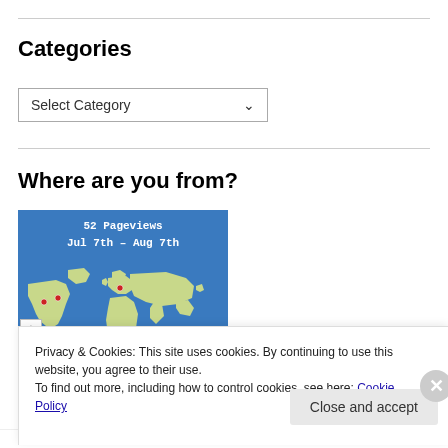Categories
Select Category
Where are you from?
[Figure (map): World map showing 52 Pageviews from Jul 7th – Aug 7th, with red dot markers on locations in the USA and Europe]
Privacy & Cookies: This site uses cookies. By continuing to use this website, you agree to their use.
To find out more, including how to control cookies, see here: Cookie Policy
Close and accept